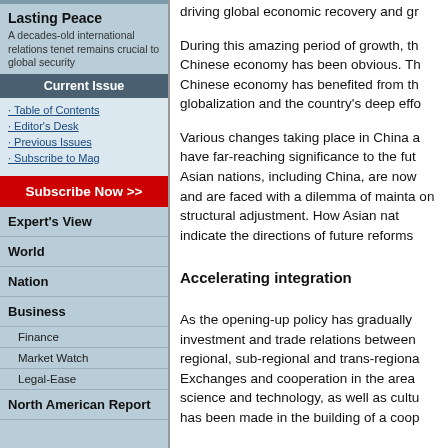Lasting Peace
A decades-old international relations tenet remains crucial to global security
Current Issue
· Table of Contents
· Editor's Desk
· Previous Issues
· Subscribe to Mag
Subscribe Now >>
Expert's View
World
Nation
Business
Finance
Market Watch
Legal-Ease
North American Report
driving global economic recovery and gr
During this amazing period of growth, the Chinese economy has been obvious. The Chinese economy has benefited from the globalization and the country's deep effo
Various changes taking place in China a have far-reaching significance to the fut Asian nations, including China, are now and are faced with a dilemma of mainta on structural adjustment. How Asian nat indicate the directions of future reforms
Accelerating integration
As the opening-up policy has gradually investment and trade relations between regional, sub-regional and trans-regiona Exchanges and cooperation in the area science and technology, as well as cultu has been made in the building of a coop